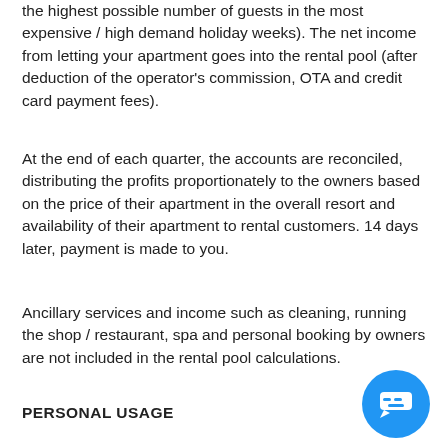the highest possible number of guests in the most expensive / high demand holiday weeks). The net income from letting your apartment goes into the rental pool (after deduction of the operator's commission, OTA and credit card payment fees).
At the end of each quarter, the accounts are reconciled, distributing the profits proportionately to the owners based on the price of their apartment in the overall resort and availability of their apartment to rental customers. 14 days later, payment is made to you.
Ancillary services and income such as cleaning, running the shop / restaurant, spa and personal booking by owners are not included in the rental pool calculations.
PERSONAL USAGE
[Figure (illustration): Blue circular chat/messaging button in the bottom-right corner]